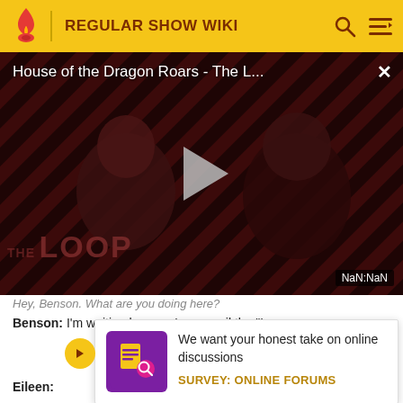REGULAR SHOW WIKI
[Figure (screenshot): Video player showing 'House of the Dragon Roars - The L...' with diagonal stripe background, play button, THE LOOP watermark, and NaN:NaN timestamp. Two people visible in background.]
Hey, Benson. What are you doing here?
Benson: I'm waiting here so I can spoil the "Lazer Hunt...
We want your honest take on online discussions
SURVEY: ONLINE FORUMS
Eileen: ...ruin